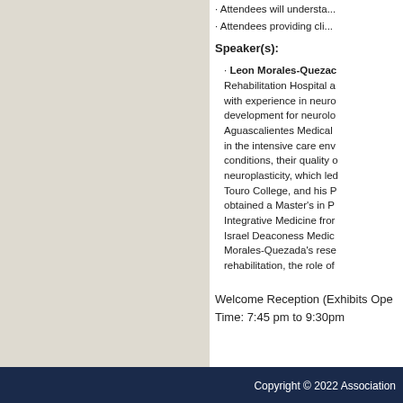· Attendees will understand...
· Attendees providing cli...
Speaker(s):
· Leon Morales-Quezada... Rehabilitation Hospital a... with experience in neuro... development for neurolo... Aguascalientes Medical... in the intensive care env... conditions, their quality o... neuroplasticity, which le... Touro College, and his P... obtained a Master's in P... Integrative Medicine fro... Israel Deaconess Medic... Morales-Quezada's rese... rehabilitation, the role of...
Welcome Reception (Exhibits Ope...
Time: 7:45 pm to 9:30pm
Copyright © 2022 Association...